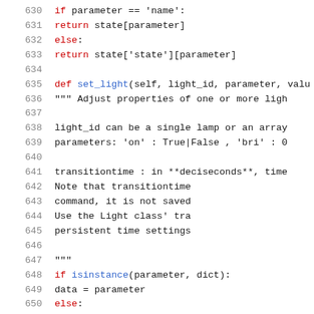Code listing lines 630-651 showing Python source code for set_light method